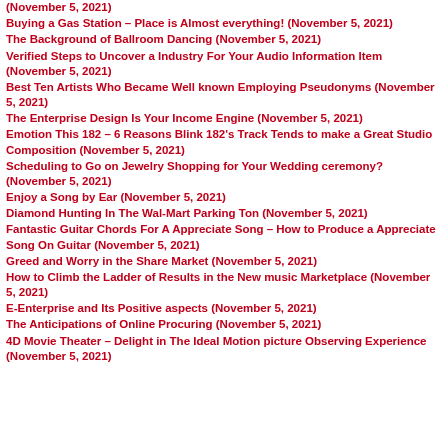(November 5, 2021)
Buying a Gas Station – Place is Almost everything! (November 5, 2021)
The Background of Ballroom Dancing (November 5, 2021)
Verified Steps to Uncover a Industry For Your Audio Information Item (November 5, 2021)
Best Ten Artists Who Became Well known Employing Pseudonyms (November 5, 2021)
The Enterprise Design Is Your Income Engine (November 5, 2021)
Emotion This 182 – 6 Reasons Blink 182's Track Tends to make a Great Studio Composition (November 5, 2021)
Scheduling to Go on Jewelry Shopping for Your Wedding ceremony? (November 5, 2021)
Enjoy a Song by Ear (November 5, 2021)
Diamond Hunting In The Wal-Mart Parking Ton (November 5, 2021)
Fantastic Guitar Chords For A Appreciate Song – How to Produce a Appreciate Song On Guitar (November 5, 2021)
Greed and Worry in the Share Market (November 5, 2021)
How to Climb the Ladder of Results in the New music Marketplace (November 5, 2021)
E-Enterprise and Its Positive aspects (November 5, 2021)
The Anticipations of Online Procuring (November 5, 2021)
4D Movie Theater – Delight in The Ideal Motion picture Observing Experience (November 5, 2021)